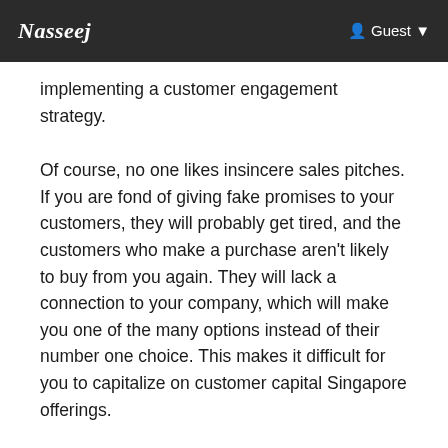Nasseej  Guest
implementing a customer engagement strategy.
Of course, no one likes insincere sales pitches. If you are fond of giving fake promises to your customers, they will probably get tired, and the customers who make a purchase aren't likely to buy from you again. They will lack a connection to your company, which will make you one of the many options instead of their number one choice. This makes it difficult for you to capitalize on customer capital Singapore offerings.
Nevertheless, when customers are familiar with your brand and trust it, you'll see a massive difference in their purchasing behavior. Moreover, customer engagement allows you to shift your